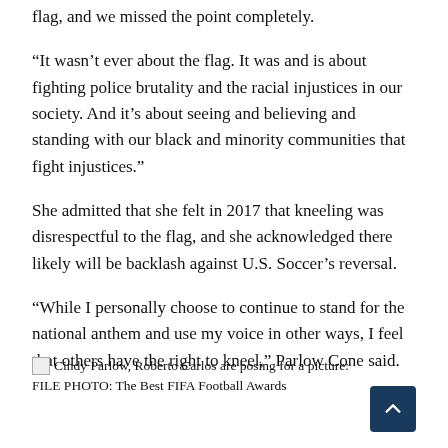flag, and we missed the point completely.
“It wasn’t ever about the flag. It was and is about fighting police brutality and the racial injustices in our society. And it’s about seeing and believing and standing with our black and minority communities that fight injustices.”
She admitted that she felt in 2017 that kneeling was disrespectful to the flag, and she acknowledged there likely will be backlash against U.S. Soccer’s reversal.
“While I personally choose to continue to stand for the national anthem and use my voice in other ways, I feel that others have the right to kneel,” Parlow Cone said.
Cindy Parlow, Roberto Carlos are posing for a picture: FILE PHOTO: The Best FIFA Football Awards